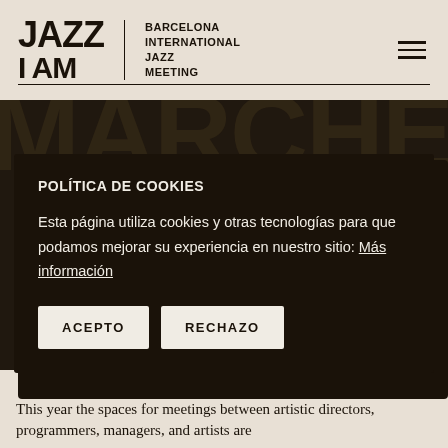[Figure (logo): Jazz I Am - Barcelona International Jazz Meeting logo with horizontal lines above and below]
[Figure (screenshot): Large bold decorative background text partially visible behind cookie modal]
POLÍTICA DE COOKIES
Esta página utiliza cookies y otras tecnologías para que podamos mejorar su experiencia en nuestro sitio: Más información
ACEPTO   RECHAZO
This year the spaces for meetings between artistic directors, programmers, managers, and artists are